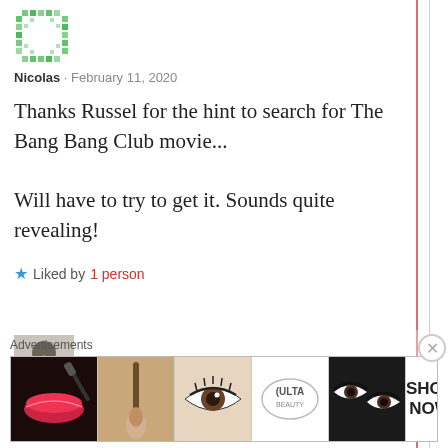[Figure (illustration): Green pixel/mosaic square avatar icon for user Nicolas]
Nicolas · February 11, 2020
Thanks Russel for the hint to search for The Bang Bang Club movie...

Will have to try to get it. Sounds quite revealing!
★ Liked by 1 person
[Figure (photo): Black and white photo avatar for user Ritchie Roesch]
Ritchie Roesch · February 11, 2020
Advertisements
[Figure (screenshot): ULTA beauty advertisement banner showing makeup/cosmetics images with SHOP NOW text]